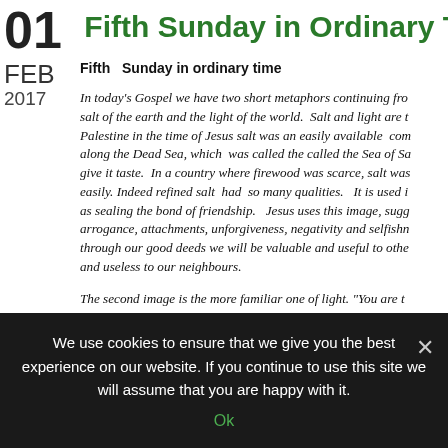Fifth Sunday in Ordinary Time (5 F...
Fifth  Sunday in ordinary time
FEB
2017
In today's Gospel we have two short metaphors continuing fro... salt of the earth and the light of the world.  Salt and light are t... Palestine in the time of Jesus salt was an easily available  com... along the Dead Sea, which  was called the called the Sea of Sa... give it taste.  In a country where firewood was scarce, salt was... easily. Indeed refined salt  had  so many qualities.   It is used i... as sealing the bond of friendship.   Jesus uses this image, sugg... arrogance, attachments, unforgiveness, negativity and selfishn... through our good deeds we will be valuable and useful to othe... and useless to our neighbours.
The second image is the more familiar one of light. "You are t...
We use cookies to ensure that we give you the best experience on our website. If you continue to use this site we will assume that you are happy with it.
Ok